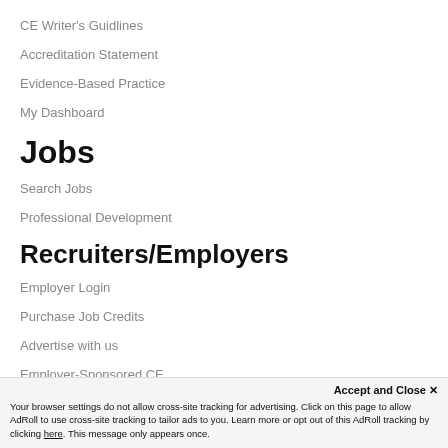CE Writer's Guidlines
Accreditation Statement
Evidence-Based Practice
My Dashboard
Jobs
Search Jobs
Professional Development
Recruiters/Employers
Employer Login
Purchase Job Credits
Advertise with us
Employer-Sponsored CE
Accept and Close ✕
Your browser settings do not allow cross-site tracking for advertising. Click on this page to allow AdRoll to use cross-site tracking to tailor ads to you. Learn more or opt out of this AdRoll tracking by clicking here. This message only appears once.